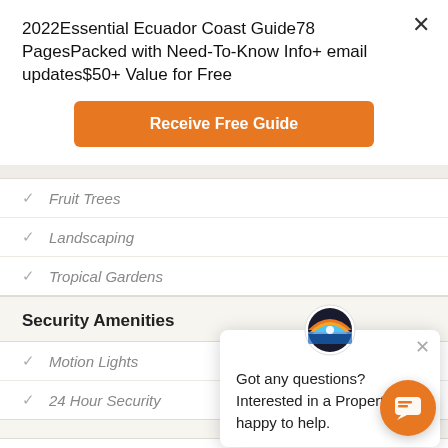2022Essential Ecuador Coast Guide78 PagesPacked with Need-To-Know Info+ email updates$50+ Value for Free
Receive Free Guide
Fruit Trees
Landscaping
Tropical Gardens
Security Amenities
Motion Lights
24 Hour Security
Got any questions? Interested in a Property? I'm happy to help.
Location